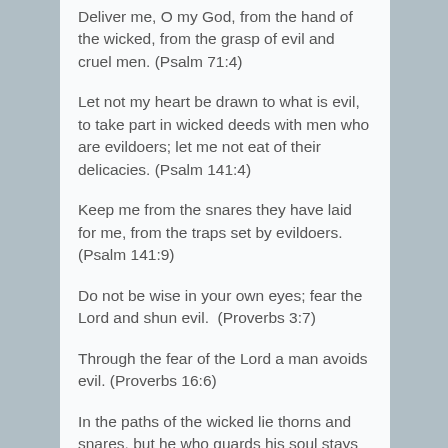Deliver me, O my God, from the hand of the wicked, from the grasp of evil and cruel men. (Psalm 71:4)
Let not my heart be drawn to what is evil, to take part in wicked deeds with men who are evildoers; let me not eat of their delicacies. (Psalm 141:4)
Keep me from the snares they have laid for me, from the traps set by evildoers. (Psalm 141:9)
Do not be wise in your own eyes; fear the Lord and shun evil.  (Proverbs 3:7)
Through the fear of the Lord a man avoids evil. (Proverbs 16:6)
In the paths of the wicked lie thorns and snares, but he who guards his soul stays far from them. (Proverbs 22:5)
Woe to those who call evil good and good evil, who put darkness for light and light for darkness, who put